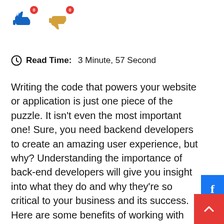[Figure (illustration): Thumbs up icon (blue) with red badge showing 0, and thumbs down icon (orange/tan) with red badge showing 0 — vote/reaction buttons]
Read Time: 3 Minute, 57 Second
Writing the code that powers your website or application is just one piece of the puzzle. It isn't even the most important one! Sure, you need backend developers to create an amazing user experience, but why? Understanding the importance of back-end developers will give you insight into what they do and why they're so critical to your business and its success. Here are some benefits of working with back-end developers and how they can help your web development company to grow.